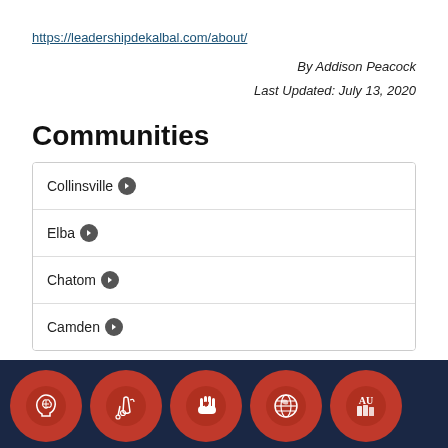https://leadershipdekalbal.com/about/
By Addison Peacock
Last Updated: July 13, 2020
Communities
Collinsville
Elba
Chatom
Camden
[Figure (illustration): Footer bar with dark navy background showing five orange circular icons with white illustrations: brain/head, musical instruments, hand with heart, globe, and Auburn University AU logo with books]